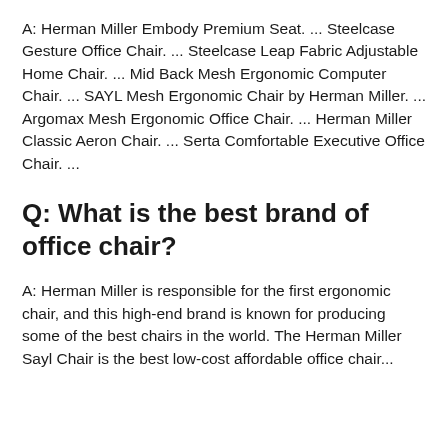A: Herman Miller Embody Premium Seat. ... Steelcase Gesture Office Chair. ... Steelcase Leap Fabric Adjustable Home Chair. ... Mid Back Mesh Ergonomic Computer Chair. ... SAYL Mesh Ergonomic Chair by Herman Miller. ... Argomax Mesh Ergonomic Office Chair. ... Herman Miller Classic Aeron Chair. ... Serta Comfortable Executive Office Chair. ...
Q: What is the best brand of office chair?
A: Herman Miller is responsible for the first ergonomic chair, and this high-end brand is known for producing some of the best chairs in the world. The Herman Miller Sayl Chair is the best low-cost affordable office chair...